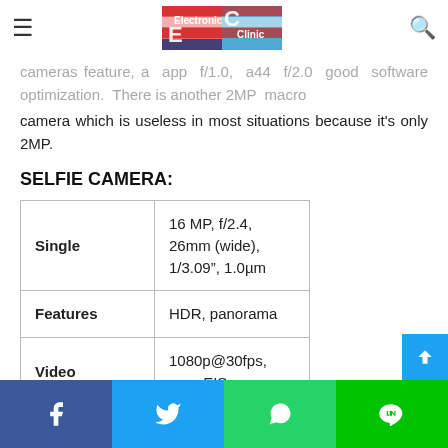Electronic Clinic (logo) — hamburger menu and search icon
cameras feature, aappy  f11.0, a44  f12.0  good  software optimization. There is another 2MP macro camera which is useless in most situations because it's only 2MP.
SELFIE CAMERA:
|  |  |
| --- | --- |
| Single | 16 MP, f/2.4, 26mm (wide), 1/3.09”, 1.0μm |
| Features | HDR, panorama |
| Video | 1080p@30fps, gyro-EIS |
Facebook | Twitter | WhatsApp | LINE